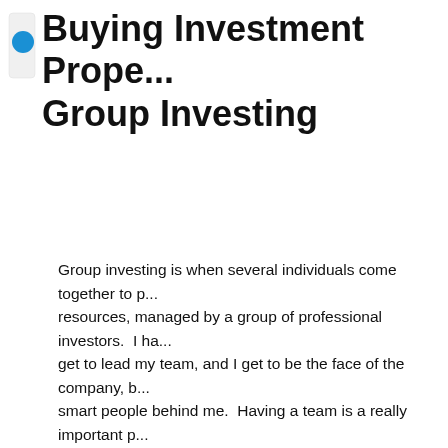Buying Investment Property with Group Investing
Group investing is when several individuals come together to pool resources, managed by a group of professional investors. I have to get to lead my team, and I get to be the face of the company, but smart people behind me. Having a team is a really important part; if you want to leverage a team, group investing is the way to go. In a group investment, it's limited liability to you, as the investor. You buy membership units or shares in a company, and you did not sign on for that debt, so even if the property eventually is sold at a loss, you lose you wrote a check for. That is a very powerful thing, especially if you're a high net worth person and you're looking at buying investment properties with your assets. You might pick up maybe ten different assets – you have your net worth in ten different deals, but if you had signed personal guarantees on all ten deals, you might have nine deals profitable and one deal turns bad and it wipes you out because of that personal recourse on the loan.